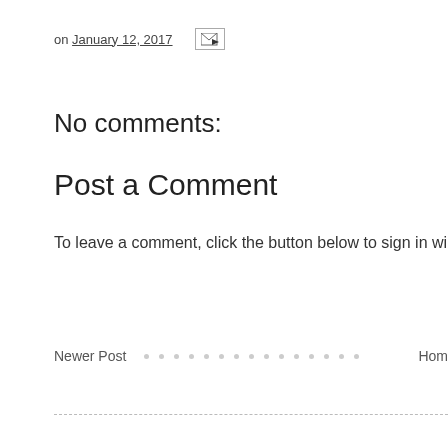on January 12, 2017
No comments:
Post a Comment
To leave a comment, click the button below to sign in wi
[Figure (screenshot): Blue 'SIGN IN WITH GOOGLE' button]
Newer Post · · · · · · · · · · · · · · · · Home